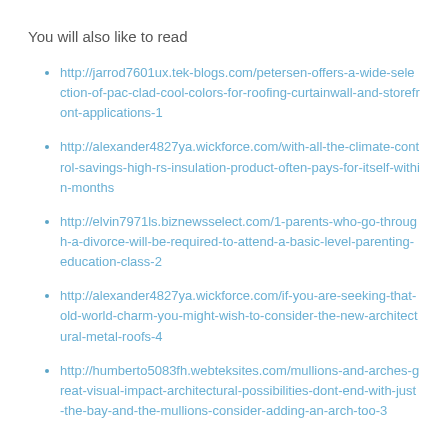You will also like to read
http://jarrod7601ux.tek-blogs.com/petersen-offers-a-wide-selection-of-pac-clad-cool-colors-for-roofing-curtainwall-and-storefront-applications-1
http://alexander4827ya.wickforce.com/with-all-the-climate-control-savings-high-rs-insulation-product-often-pays-for-itself-within-months
http://elvin7971ls.biznewsselect.com/1-parents-who-go-through-a-divorce-will-be-required-to-attend-a-basic-level-parenting-education-class-2
http://alexander4827ya.wickforce.com/if-you-are-seeking-that-old-world-charm-you-might-wish-to-consider-the-new-architectural-metal-roofs-4
http://humberto5083fh.webteksites.com/mullions-and-arches-great-visual-impact-architectural-possibilities-dont-end-with-just-the-bay-and-the-mullions-consider-adding-an-arch-too-3